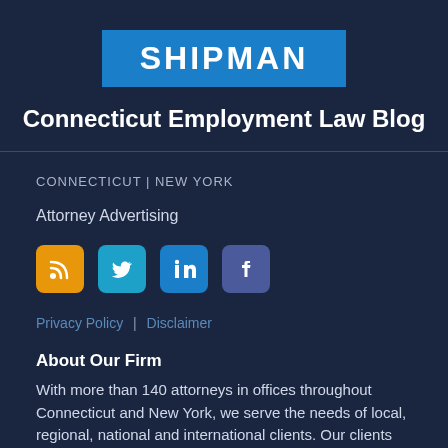[Figure (logo): Shipman law firm logo: blue rectangle with white bold text SHIPMAN]
Connecticut Employment Law Blog
CONNECTICUT | NEW YORK
Attorney Advertising
[Figure (illustration): Social media icons: RSS (orange), Twitter (blue), LinkedIn (blue), Facebook (dark blue)]
Privacy Policy | Disclaimer
About Our Firm
With more than 140 attorneys in offices throughout Connecticut and New York, we serve the needs of local, regional, national and international clients. Our clients